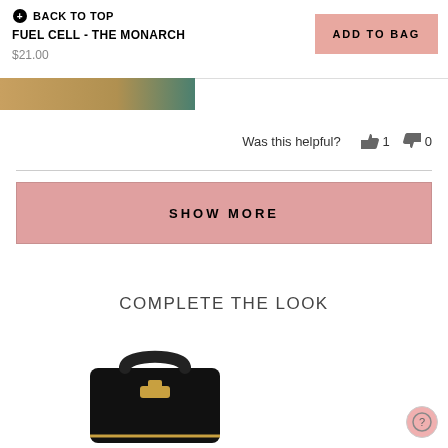⊕ BACK TO TOP
FUEL CELL - THE MONARCH
$21.00
ADD TO BAG
[Figure (photo): Partial product image strip showing golden and teal colors]
Was this helpful?  👍 1  👎 0
SHOW MORE
COMPLETE THE LOOK
[Figure (photo): Black handbag with gold hardware shown at bottom of page]